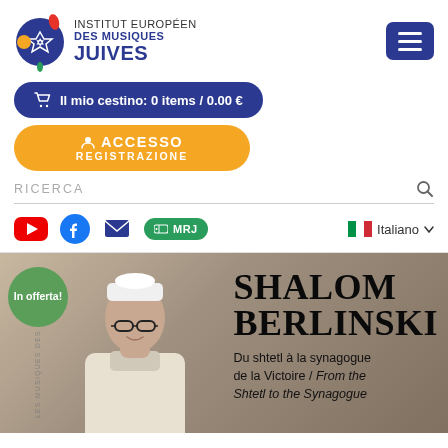[Figure (logo): Institut Européen des Musiques Juives logo with colorful musical note icon and organization name in dark blue bold text]
Il mio cestino: 0 items / 0.00 €
ACCESSO REGISTRAZIONE
RICERCA
[Figure (infographic): Social media bar with YouTube, Facebook, email icons, MRJ radio button, Italian flag and Italiano language selector with dropdown arrow]
[Figure (photo): Banner image showing a man in religious attire (white cap, white robe with glasses) with text overlay: SHALOM BERLINSKI, Du shtetl à la synagogue de la Victoire / From the Shtetl to the Synagogue. Green badge says 'In offerta!' in top left.]